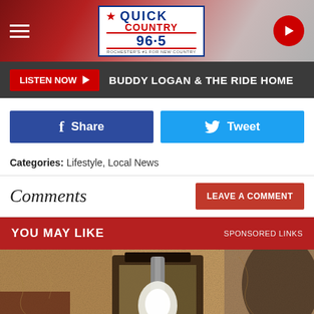[Figure (screenshot): Quick Country 96.5 radio station website header banner with hamburger menu, logo, and play button]
LISTEN NOW ▶  BUDDY LOGAN & THE RIDE HOME
f Share
Tweet
Categories: Lifestyle, Local News
Comments
LEAVE A COMMENT
YOU MAY LIKE   SPONSORED LINKS
[Figure (photo): Close-up photo of a vintage outdoor wall lantern with Edison bulb against a textured stucco wall]